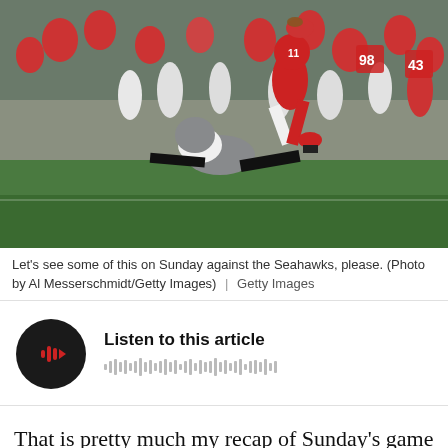[Figure (photo): NFL football action photo showing a Cardinals wide receiver in mid-air being tackled by a Tampa Bay Buccaneers defender on the field, with coaches and players visible on the sideline in the background.]
Let's see some of this on Sunday against the Seahawks, please. (Photo by Al Messerschmidt/Getty Images)  |  Getty Images
[Figure (other): Audio player widget with a circular black play button featuring a red play icon, and a waveform graphic beside text reading 'Listen to this article']
That is pretty much my recap of Sunday's game against the Tampa Bay Buccaneers, which was